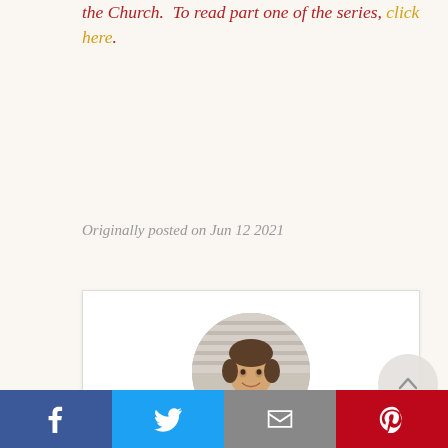the Church. To read part one of the series, click here.
Originally posted on Jun 12 2021
[Figure (photo): Circular profile photo of Dr. Marcelline, a man in a dark suit with a light blue tie, smiling, set against a blurred office background.]
Dr. Marcelline
Social sharing bar with Facebook, Twitter, Email, and Pinterest buttons